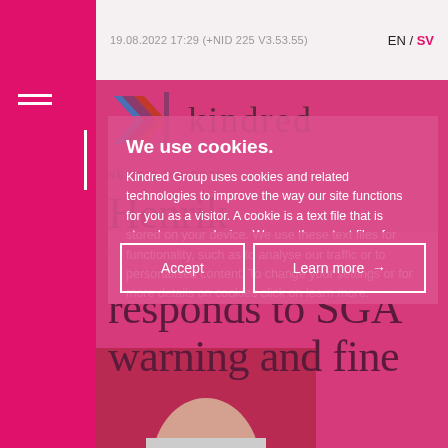19.08.2022 17:29 (+NID 225 V3.53.55)   EN / SV
[Figure (logo): Kindred Group logo with multicolored arrow/K mark and 'kindred' wordmark in serif font]
NEWS & INSIGHTS
Henrik Tjärnström responds to SGA warning and fine
We use cookies.
Kindred Group uses cookies and related technologies to improve the way our site functions for you as a visitor. A cookie is a text file that is stored on your device. We use these text files for functionality, such as to analyse our traffic or to personalised content. To change your settings or for more details on cookies click on learn more.
Accept
Learn more →
[Figure (photo): Partial photo of a man's face (Henrik Tjärnström) visible at the bottom of the page]